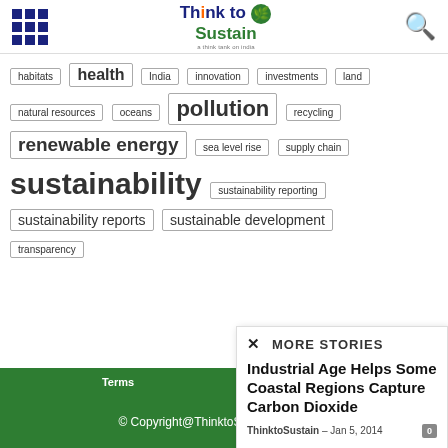Think to Sustain
habitats health India innovation investments land natural resources oceans pollution recycling renewable energy sea level rise supply chain sustainability sustainability reporting sustainability reports sustainable development transparency
× MORE STORIES
Industrial Age Helps Some Coastal Regions Capture Carbon Dioxide
ThinktoSustain - Jan 5, 2014
Terms
© Copyright@ThinktoSustain.com 2017